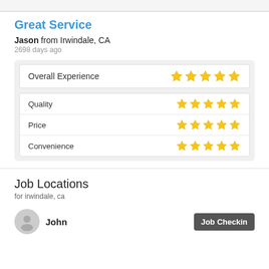Great Service
Jason from Irwindale, CA
2698 days ago
| Category | Rating |
| --- | --- |
| Overall Experience | 5 stars |
| Quality | 5 stars |
| Price | 5 stars |
| Convenience | 5 stars |
Job Locations
for irwindale, ca
John
Job Checkin